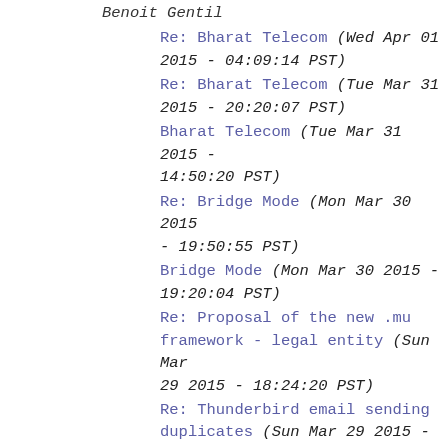Benoit Gentil
Re: Bharat Telecom (Wed Apr 01 2015 - 04:09:14 PST)
Re: Bharat Telecom (Tue Mar 31 2015 - 20:20:07 PST)
Bharat Telecom (Tue Mar 31 2015 - 14:50:20 PST)
Re: Bridge Mode (Mon Mar 30 2015 - 19:50:55 PST)
Bridge Mode (Mon Mar 30 2015 - 19:20:04 PST)
Re: Proposal of the new .mu framework - legal entity (Sun Mar 29 2015 - 18:24:20 PST)
Re: Thunderbird email sending duplicates (Sun Mar 29 2015 - 08:51:09 PST)
Re: Renewal (or purchase) of .mu domain(s) (Sat Mar 28 2015 - 07:07:44 PST)
Re: Renewal (or purchase) of .mu